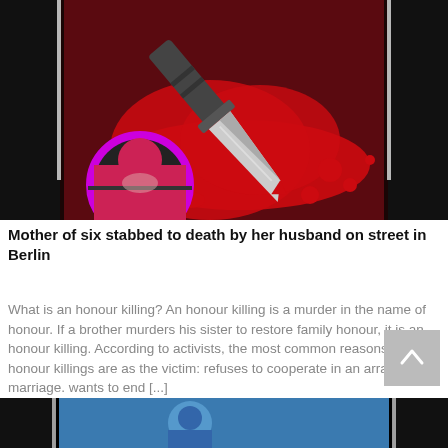[Figure (illustration): Dark red background with a stylized knife/dagger with blood splatter illustration. A circular avatar with purple border showing a person's profile image is overlaid at the bottom left.]
Mother of six stabbed to death by her husband on street in Berlin
What is an honour killing? An honour killing is a murder in the name of honour. If a brother murders his sister to restore family honour, it is an honour killing. According to activists, the most common reasons for honour killings are as the victim: refuses to cooperate in an arranged marriage. wants to end [...]
[Figure (photo): Partial view of another article image at the bottom of the page, showing a blue-toned photo with black borders on sides.]